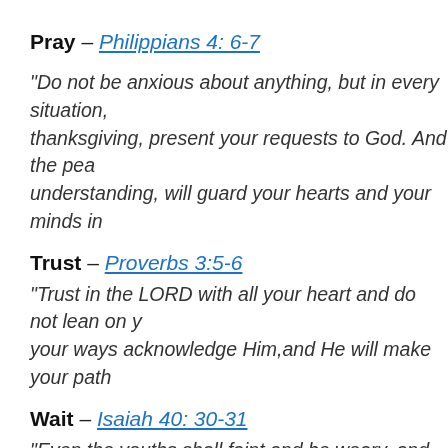Pray – Philippians 4: 6-7
“Do not be anxious about anything, but in every situation, thanksgiving, present your requests to God. And the pea understanding, will guard your hearts and your minds in
Trust – Proverbs 3:5-6
“Trust in the LORD with all your heart and do not lean on your ways acknowledge Him,and He will make your path
Wait – Isaiah 40: 30-31
“Even the youths shall faint and be weary, and the young that wait on the LORD shall renew their strength; they sh eagles; they shall run, and not be weary; and they shall w
View – Walking it Out while Entering His Rest